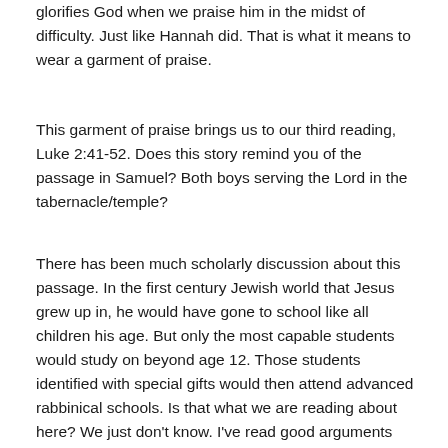glorifies God when we praise him in the midst of difficulty. Just like Hannah did.  That is what it means to wear a garment of praise.
This garment of praise brings us to our third reading, Luke 2:41-52. Does this story remind you of the passage in Samuel?  Both boys serving the Lord in the tabernacle/temple?
There has been much scholarly discussion about this passage.  In the first century Jewish world that Jesus grew up in, he would have gone to school like all children his age.  But only the most capable students would study on beyond age 12.  Those students identified with special gifts would then attend advanced rabbinical schools.  Is that what we are reading about here?  We just don't know.  I've read good arguments supporting the idea that Jesus went to an elite rabbinical school, and I've read good